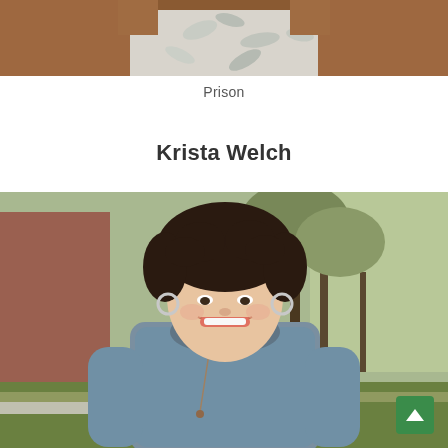[Figure (photo): Partial photo of a person wearing a white floral print top, cropped at the top of the page showing torso area]
Prison
Krista Welch
[Figure (photo): Portrait photo of Krista Welch, a woman with curly dark hair, smiling, wearing a blue-grey cowl neck sweater with a long necklace, standing outdoors with trees and grass in the background]